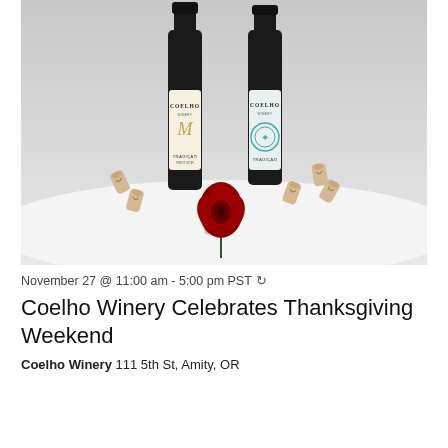[Figure (photo): Two bottles of Coelho Winery wine standing upright with several wine corks arranged in front and a single deep red rose placed among the corks, on a white surface with a light grey background.]
November 27 @ 11:00 am - 5:00 pm PST ↺
Coelho Winery Celebrates Thanksgiving Weekend
Coelho Winery 111 5th St, Amity, OR